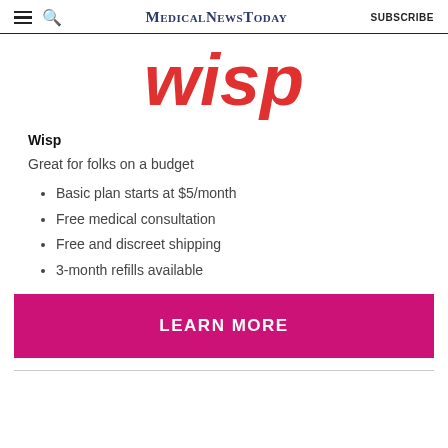MedicalNewsToday SUBSCRIBE
[Figure (logo): Wisp logo in large red italic text]
Wisp
Great for folks on a budget
Basic plan starts at $5/month
Free medical consultation
Free and discreet shipping
3-month refills available
LEARN MORE